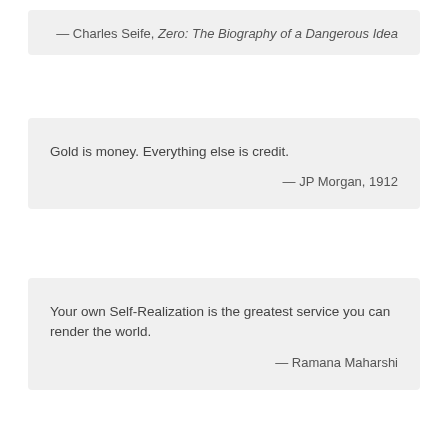— Charles Seife, Zero: The Biography of a Dangerous Idea
Gold is money. Everything else is credit.
— JP Morgan, 1912
Your own Self-Realization is the greatest service you can render the world.
— Ramana Maharshi